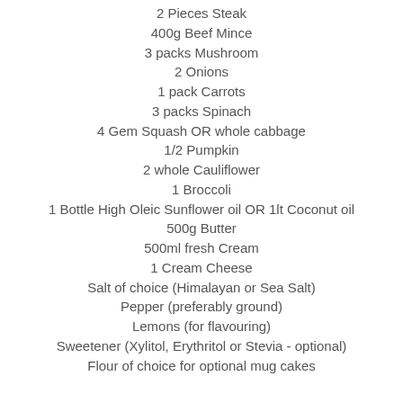2 Pieces Steak
400g Beef Mince
3 packs Mushroom
2 Onions
1 pack Carrots
3 packs Spinach
4 Gem Squash OR whole cabbage
1/2 Pumpkin
2 whole Cauliflower
1 Broccoli
1 Bottle High Oleic Sunflower oil OR 1lt Coconut oil
500g Butter
500ml fresh Cream
1 Cream Cheese
Salt of choice (Himalayan or Sea Salt)
Pepper (preferably ground)
Lemons (for flavouring)
Sweetener (Xylitol, Erythritol or Stevia - optional)
Flour of choice for optional mug cakes